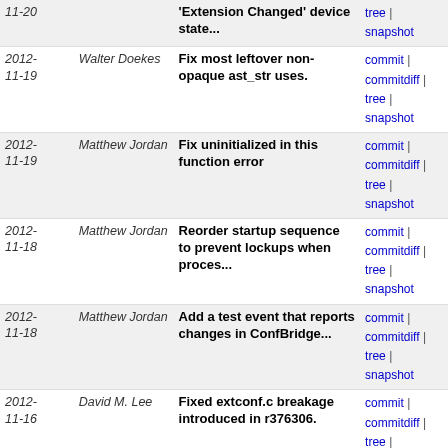| Date | Author | Description | Links |
| --- | --- | --- | --- |
| 2012-11-20 |  | 'Extension Changed' device state... | commit | commitdiff | tree | snapshot |
| 2012-11-19 | Walter Doekes | Fix most leftover non-opaque ast_str uses. | commit | commitdiff | tree | snapshot |
| 2012-11-19 | Matthew Jordan | Fix uninitialized in this function error | commit | commitdiff | tree | snapshot |
| 2012-11-18 | Matthew Jordan | Reorder startup sequence to prevent lockups when proces... | commit | commitdiff | tree | snapshot |
| 2012-11-18 | Matthew Jordan | Add a test event that reports changes in ConfBridge... | commit | commitdiff | tree | snapshot |
| 2012-11-16 | David M. Lee | Fixed extconf.c breakage introduced in r376306. | commit | commitdiff | tree | snapshot |
| 2012-11-16 | David M. Lee | Somehow I put in svn-1.6 merge information. Oops. | commit | commitdiff | tree | snapshot |
| 2012-11-16 | David M. Lee | Migrate hashtest/hashtest2 to be unit tests. | commit | commitdiff | tree | snapshot |
| 2012-11-15 | Jonathan Rose | app_meetme: Fix channels lingering when hung up under... | commit | commitdiff | tree | snapshot |
| 2012-11-15 | Brent Eagles | Patch to prevent stopping the active generator when... | commit | commitdiff | tree | snapshot |
| 2012-11-15 | Rusty Newton | Patch to play correct sound file when a voicemail's... | commit | commitdiff | tree | snapshot |
| 2012-11-14 | Richard Mudgett | Fix call files when astspooldir is relative. | commit | commitdiff | tree | snapshot |
| 2012-11- | Jonathan Rose | chan_sip: Add | commit | commitdiff |